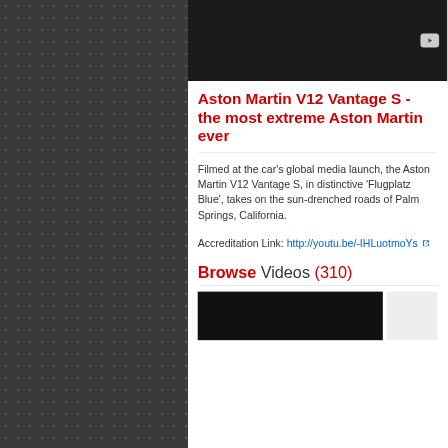[Figure (screenshot): Video thumbnail with dark/black background and YouTube-style play button in lower right]
Aston Martin V12 Vantage S - the most extreme Aston Martin ever
Filmed at the car's global media launch, the Aston Martin V12 Vantage S, in distinctive 'Flugplatz Blue', takes on the sun-drenched roads of Palm Springs, California.
Accreditation Link: http://youtu.be/-IHLuotmoYs
Browse Videos (310)
[Figure (screenshot): Two video thumbnails side by side, left is dark/black, right is light gray/white]